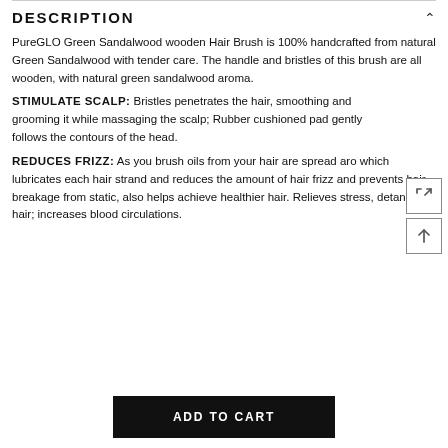DESCRIPTION
PureGLO Green Sandalwood wooden Hair Brush is 100% handcrafted from natural Green Sandalwood with tender care. The handle and bristles of this brush are all wooden, with natural green sandalwood aroma.
STIMULATE SCALP: Bristles penetrates the hair, smoothing and grooming it while massaging the scalp; Rubber cushioned pad gently follows the contours of the head.
REDUCES FRIZZ: As you brush oils from your hair are spread aro which lubricates each hair strand and reduces the amount of hair frizz and prevents hair breakage from static, also helps achieve healthier hair. Relieves stress, detangles hair; increases blood circulations.
ADD TO CART